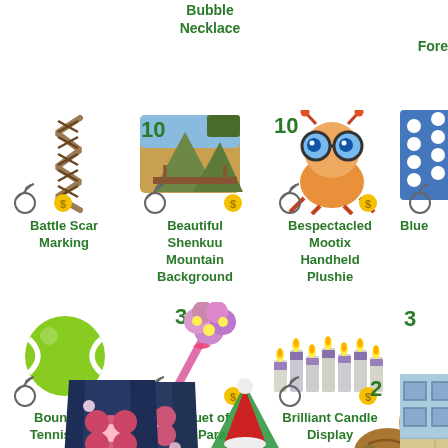Bubble Necklace
Clothesline
Fore
[Figure (illustration): Battle Scar Marking item - zigzag brown lace/scar pattern]
Battle Scar Marking
[Figure (illustration): Beautiful Shenkuu Mountain Background item - landscape scene with number 10 badge]
Beautiful Shenkuu Mountain Background
[Figure (illustration): Bespectacled Mootix Handheld Plushie - colorful bug plushie with glasses, number 10 badge]
Bespectacled Mootix Handheld Plushie
[Figure (illustration): Blue item - partially visible, polka dot fabric]
Blue
[Figure (illustration): Bouncing Tennis Ball - green tennis ball]
Bouncing Tennis Ball
[Figure (illustration): Bouquet of Flowers Parasol - pink parasol with flower bouquet, number 3 badge]
Bouquet of Flowers Parasol
[Figure (illustration): Brilliant Candle Display - cluster of white/purple candles]
Brilliant Candle Display
[Figure (illustration): Partially visible item with number 3 badge]
B
Clo
W
[Figure (illustration): Item at bottom left - Japanese kimono wrap with pink flowers]
[Figure (illustration): Item at bottom center-left - red Christmas elf/gnome hat with tree]
[Figure (illustration): Item at bottom center-right - brown bird/turkey with number 2 badge]
[Figure (illustration): Item at bottom right - partially visible building/scene]